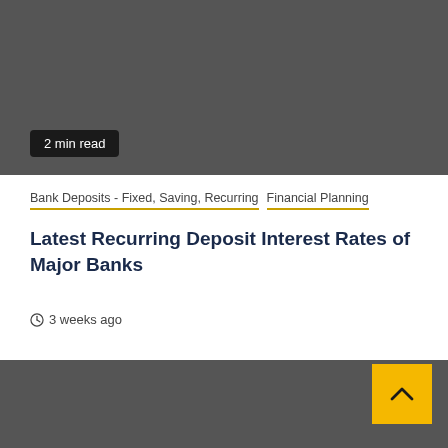[Figure (photo): Dark gray image area at top of article page]
2 min read
Bank Deposits - Fixed, Saving, Recurring   Financial Planning
Latest Recurring Deposit Interest Rates of Major Banks
3 weeks ago
[Figure (photo): Dark gray image area at bottom of page with yellow scroll-to-top button]